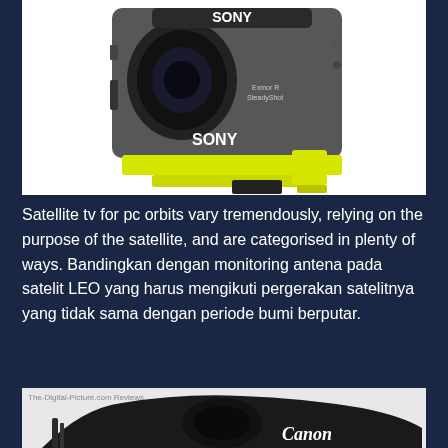[Figure (photo): Sony action camera in transparent waterproof housing with yellow mounting base, showing Sony branding on front]
Satellite tv for pc orbits vary tremendously, relying on the purpose of the satellite, and are categorised in plenty of ways. Bandingkan dengan monitoring antena pada satelit LEO yang harus mengikuti pergerakan satelitnya yang tidak sama dengan periode bumi berputar.
[Figure (photo): Canon DSLR camera top view showing Canon branding, with The-Digital-Picture.com Reviews watermark]